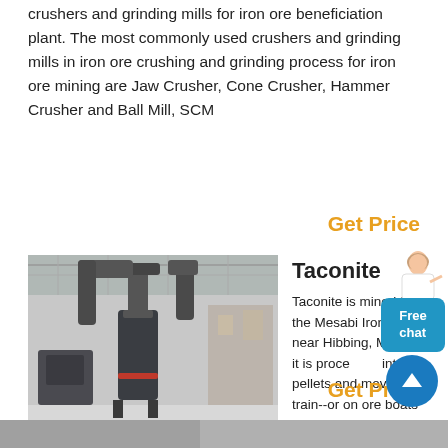crushers and grinding mills for iron ore beneficiation plant. The most commonly used crushers and grinding mills in iron ore crushing and grinding process for iron ore mining are Jaw Crusher, Cone Crusher, Hammer Crusher and Ball Mill, SCM
Get Price
[Figure (photo): Industrial grinding/crushing mill machine in a factory setting with large cylindrical equipment and support structures]
Taconite
Taconite is mined from the Mesabi Iron Range, near Hibbing, MN. Then it is processed into pellets and moved by train--or on ore boats from Duluth--to ports and steel mills around the Great Lakes region. Taconite process photos courtesy American Iron Ore Association and Hibbing Taconite.
Get Price
[Figure (photo): Partial view of another industrial image at bottom of page]